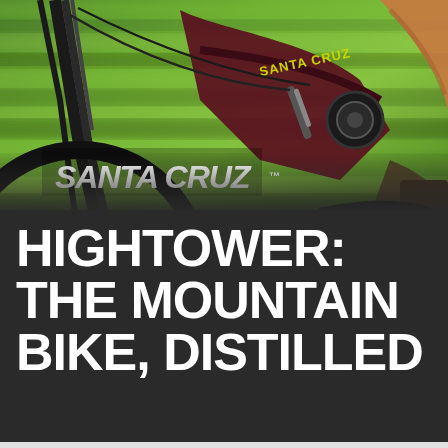[Figure (photo): Close-up action photo of a Santa Cruz mountain bike in motion. The frame is dark/black with gold lettering reading SANTA CRUZ. The bike and rider's legs are visible against a blurred green background suggesting speed. A white Santa Cruz logo/wordmark is overlaid on the lower-left area of the photo.]
HIGHTOWER: THE MOUNTAIN BIKE, DISTILLED